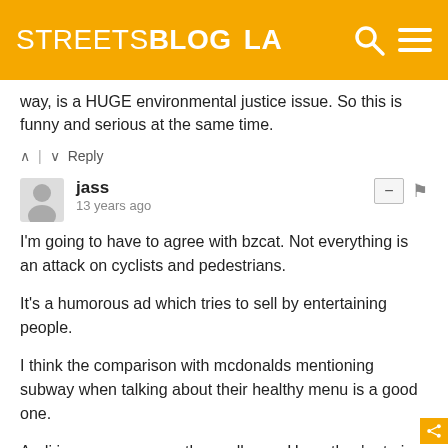STREETSBLOG LA
way, is a HUGE environmental justice issue. So this is funny and serious at the same time.
↑ | ↓  Reply
jass
13 years ago
I'm going to have to agree with bzcat. Not everything is an attack on cyclists and pedestrians.

It's a humorous ad which tries to sell by entertaining people.

I think the comparison with mcdonalds mentioning subway when talking about their healthy menu is a good one.

Audi is a car company, they sell cars. Here, they're trying to sell a more environmentally friendly car. Why is this a problem?

Streetsblog should focus on real issues, and not be hypersensitive about a freaking super bowl commercial. Bitching about something like this is about as bad as it...